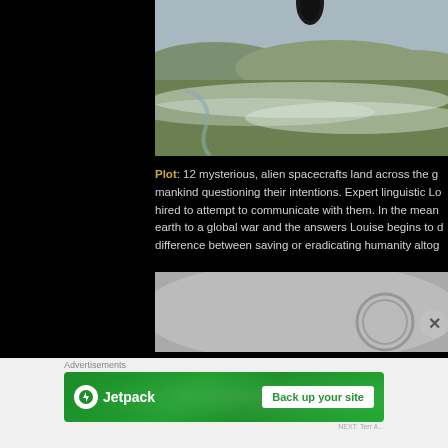[Figure (photo): Movie still showing a large dark alien spacecraft hovering above a green misty landscape with rolling hills and fog.]
Plot: 12 mysterious, alien spacecrafts land across the g... mankind questioning their intentions. Expert linguistic Lo... hired to attempt to communicate with them. In the mean... earth to a global war and the answers Louise begins to d... difference between saving or eradicating humanity altog...
[Figure (photo): Movie still showing a misty grey scene with a circular alien ink-like symbol visible.]
Advertisements
[Figure (other): Jetpack advertisement banner with green background showing Jetpack logo and 'Back up your site' button.]